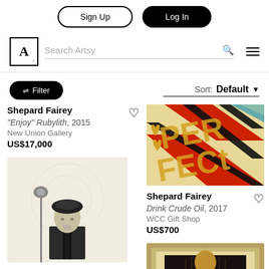Sign Up | Log In
[Figure (screenshot): Artsy logo — letter A in a square frame]
Search Artsy
Filter | Sort: Default
Shepard Fairey
"Enjoy" Rubylith, 2015
New Union Gallery
US$17,000
[Figure (photo): Colorful geometric Shepard Fairey artwork with text 'PERFECT' in red, black, and tan colors]
Shepard Fairey
Drink Crude Oil, 2017
WCC Gift Shop
US$700
[Figure (photo): Black and white Shepard Fairey print of a figure in a suit holding a flower]
[Figure (photo): Gold-toned Shepard Fairey artwork in a frame, partially visible]